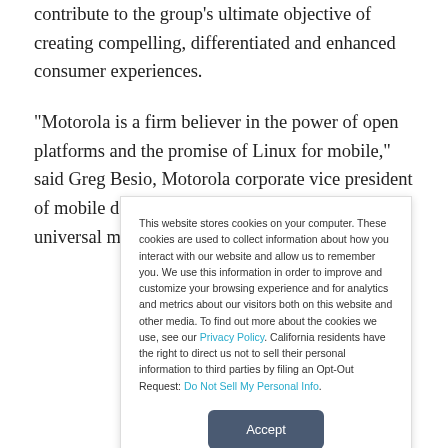contribute to the group's ultimate objective of creating compelling, differentiated and enhanced consumer experiences.
“Motorola is a firm believer in the power of open platforms and the promise of Linux for mobile,” said Greg Besio, Motorola corporate vice president of mobile devices software. Besio believes a universal mobile Linux platform will “unleash the
This website stores cookies on your computer. These cookies are used to collect information about how you interact with our website and allow us to remember you. We use this information in order to improve and customize your browsing experience and for analytics and metrics about our visitors both on this website and other media. To find out more about the cookies we use, see our Privacy Policy. California residents have the right to direct us not to sell their personal information to third parties by filing an Opt-Out Request: Do Not Sell My Personal Info.